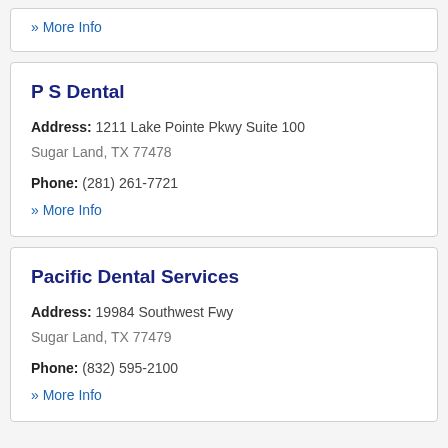» More Info
P S Dental
Address: 1211 Lake Pointe Pkwy Suite 100 Sugar Land, TX 77478
Phone: (281) 261-7721
» More Info
Pacific Dental Services
Address: 19984 Southwest Fwy Sugar Land, TX 77479
Phone: (832) 595-2100
» More Info